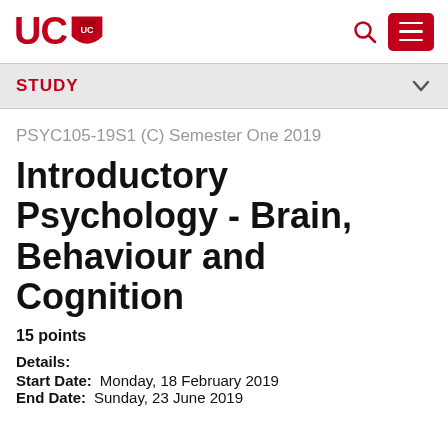UCO (logo) | search icon | menu button
STUDY
PSYC105-19S1 (C) Semester One 2019
Introductory Psychology - Brain, Behaviour and Cognition
15 points
Details:
Start Date:  Monday, 18 February 2019
End Date:  Sunday, 23 June 2019